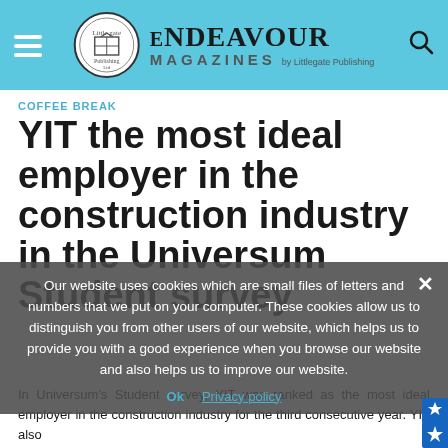ENDEAVOUR MAGAZINES by Littlegate Publishing
COFFEE BREAK
YIT the most ideal employer in the construction industry in the Universum Student survey
Our website uses cookies which are small files of letters and numbers that we put on your computer. These cookies allow us to distinguish you from other users of our website, which helps us to provide you with a good experience when you browse our website and also helps us to improve our website.
In Universum's Student survey, YIT was ranked as the most ideal employer in the construction industry for the third consecutive year. YIT also